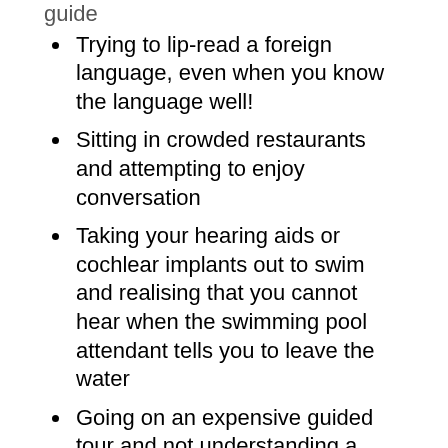guide
Trying to lip-read a foreign language, even when you know the language well!
Sitting in crowded restaurants and attempting to enjoy conversation
Taking your hearing aids or cochlear implants out to swim and realising that you cannot hear when the swimming pool attendant tells you to leave the water
Going on an expensive guided tour and not understanding a word
For additional holiday pointers, visit Holidaying if you have hearing problems, offered through Hearing Link's site. ABTA, a travel association for the UK, has a helpful Accessible travel page. For a site that offers Holidays for deaf people, visit the Disabled Holiday Directory. Finally, for holidays specially